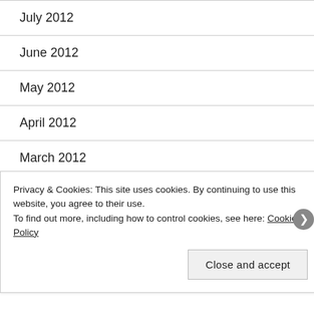July 2012
June 2012
May 2012
April 2012
March 2012
January 2013
Privacy & Cookies: This site uses cookies. By continuing to use this website, you agree to their use.
To find out more, including how to control cookies, see here: Cookie Policy
Close and accept